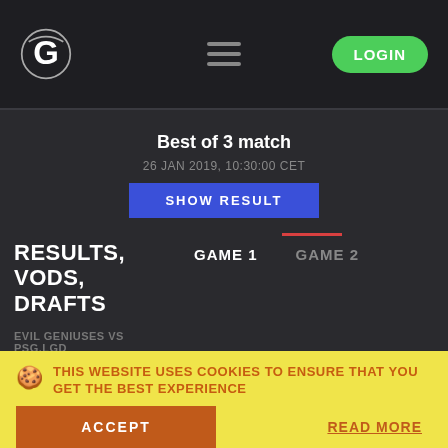G logo | Hamburger menu | LOGIN
Best of 3 match
26 JAN 2019, 10:30:00 CET
SHOW RESULT
RESULTS, VODS, DRAFTS
GAME 1   GAME 2
EVIL GENIUSES VS PSG.LGD
THIS WEBSITE USES COOKIES TO ENSURE THAT YOU GET THE BEST EXPERIENCE
ACCEPT
READ MORE